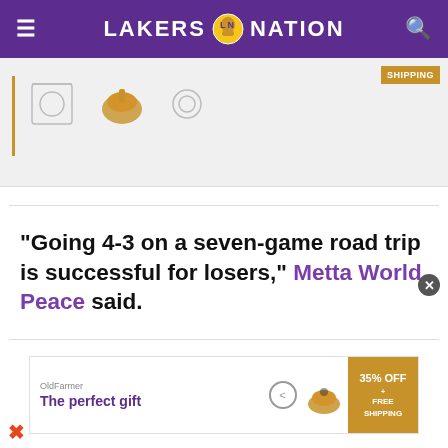LAKERS NATION
[Figure (screenshot): Advertisement banner showing kitchenware/cookware products on a light gray background with a gold 'SHIPPING' badge in the top right corner]
“Going 4-3 on a seven-game road trip is successful for losers,” Metta World Peace said.
[Figure (screenshot): Bottom advertisement banner showing 'The perfect gift' text with cookware images, navigation arrows, and a '35% OFF + FREE SHIPPING' gold badge on the right]